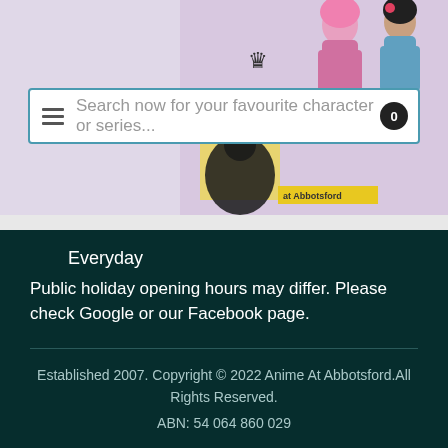[Figure (screenshot): Anime store banner with character figures and search bar overlay. Shows colorful anime character figures at top, a search bar with hamburger menu and cart badge, and 'at Abbotsford' yellow tag.]
Everyday
Public holiday opening hours may differ. Please check Google or our Facebook page.
Established 2007. Copyright © 2022 Anime At Abbotsford.All Rights Reserved.
ABN: 54 064 860 029